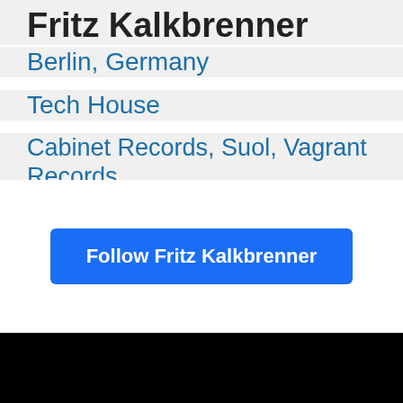Fritz Kalkbrenner
Berlin, Germany
Tech House
Cabinet Records, Suol, Vagrant Records
Follow Fritz Kalkbrenner
[Figure (other): Black background section at the bottom of the page]